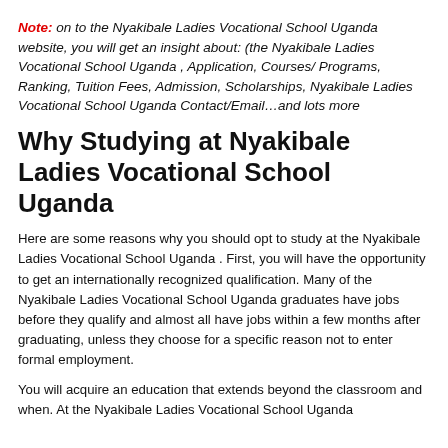Note: on to the Nyakibale Ladies Vocational School Uganda website, you will get an insight about: (the Nyakibale Ladies Vocational School Uganda , Application, Courses/ Programs, Ranking, Tuition Fees, Admission, Scholarships, Nyakibale Ladies Vocational School Uganda Contact/Email…and lots more
Why Studying at Nyakibale Ladies Vocational School Uganda
Here are some reasons why you should opt to study at the Nyakibale Ladies Vocational School Uganda . First, you will have the opportunity to get an internationally recognized qualification. Many of the Nyakibale Ladies Vocational School Uganda graduates have jobs before they qualify and almost all have jobs within a few months after graduating, unless they choose for a specific reason not to enter formal employment.
You will acquire an education that extends beyond the classroom and when. At the Nyakibale Ladies Vocational School Uganda...